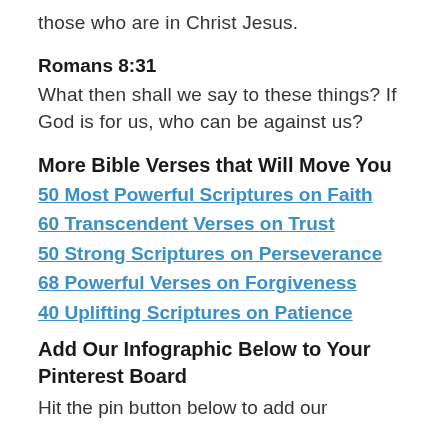those who are in Christ Jesus.
Romans 8:31
What then shall we say to these things? If God is for us, who can be against us?
More Bible Verses that Will Move You
50 Most Powerful Scriptures on Faith
60 Transcendent Verses on Trust
50 Strong Scriptures on Perseverance
68 Powerful Verses on Forgiveness
40 Uplifting Scriptures on Patience
Add Our Infographic Below to Your Pinterest Board
Hit the pin button below to add our